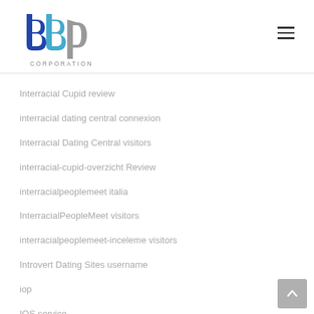[Figure (logo): bbp Corporation logo with blue and gray lettering]
Interracial Cupid review
interracial dating central connexion
Interracial Dating Central visitors
interracial-cupid-overzicht Review
interracialpeoplemeet italia
InterracialPeopleMeet visitors
interracialpeoplemeet-inceleme visitors
Introvert Dating Sites username
iop
IOS service